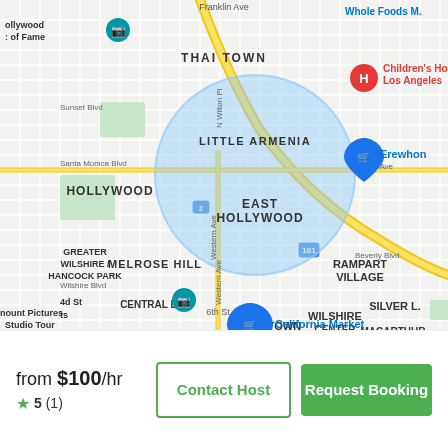[Figure (map): Google Map screenshot showing East Hollywood, Los Angeles area with a circular blue highlighted zone centered around East Hollywood/Melrose Hill. Nearby labeled areas include Hollywood, Thai Town, Little Armenia, Melrose Hill, Greater Wilshire/Hancock Park, Central LA, Rampart Village, Wilshire Center, Koreatown, MacArthur Park, Silver Lake. Notable landmarks shown: Hollywood Walk of Fame, Children's Hospital Los Angeles, Erewhon, California Market, Paramount Pictures Studio Tour. Street labels include Sunset Blvd, Santa Monica Blvd, Beverly Blvd, Wilshire Blvd, 6th St, Western Ave, N Wilton Pl, N Virgil Ave, Franklin Ave. Freeway 101 visible. Map pins for camera and shopping icons visible.]
from $100/hr
5 (1)
Contact Host
Request Booking